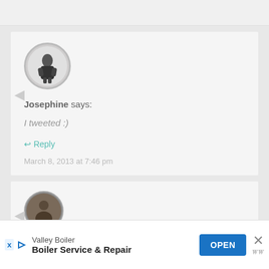[Figure (other): Top gray bar area]
[Figure (photo): Circular avatar photo of a person in black and white, figure seen from behind with arms crossed or folded]
Josephine says:
I tweeted :)
Reply
March 8, 2013 at 7:46 pm
[Figure (photo): Circular avatar photo of a second commenter, partially visible at bottom]
Valley Boiler
Boiler Service & Repair
OPEN